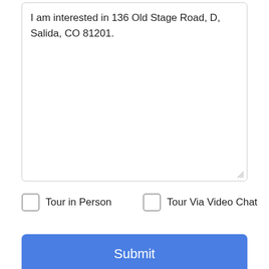I am interested in 136 Old Stage Road, D, Salida, CO 81201.
Tour in Person
Tour Via Video Chat
Submit
Disclaimer: By entering your information and submitting this form, you agree to our Terms of Use and Privacy Policy and that you may be contacted by phone, text message and email about your inquiry.
Licensed in the State of Colorado, USA The content relating to real
Take a Tour
Ask A Question